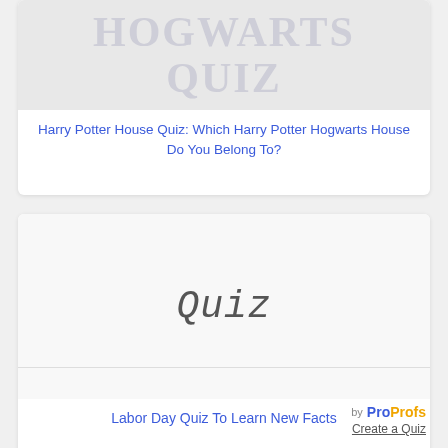[Figure (illustration): Card thumbnail with faded watermark-style text showing Harry Potter themed imagery]
Harry Potter House Quiz: Which Harry Potter Hogwarts House Do You Belong To?
[Figure (illustration): Card thumbnail showing the word Quiz in handwritten/italic style on a white background]
Labor Day Quiz To Learn New Facts
by ProProfs Create a Quiz